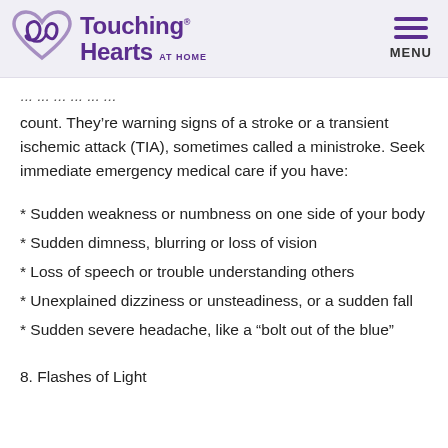Touching Hearts AT HOME
count. They're warning signs of a stroke or a transient ischemic attack (TIA), sometimes called a ministroke. Seek immediate emergency medical care if you have:
* Sudden weakness or numbness on one side of your body
* Sudden dimness, blurring or loss of vision
* Loss of speech or trouble understanding others
* Unexplained dizziness or unsteadiness, or a sudden fall
* Sudden severe headache, like a “bolt out of the blue”
8. Flashes of Light